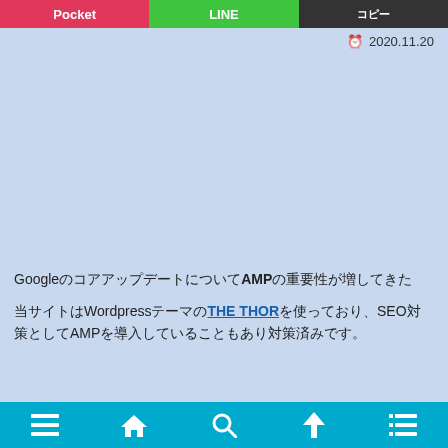Pocket | LINE | コピー
2020.11.20
[Figure (other): Advertisement or empty content area with light blue background]
GoogleのコアアップデートについてAMPの重要性が増してきた
当サイトはWordpressテーマのTHE THORを使っており、SEO対策としてAMPを導入していることもあり対策済みです。
Navigation bar with menu, home, search, up, and list icons